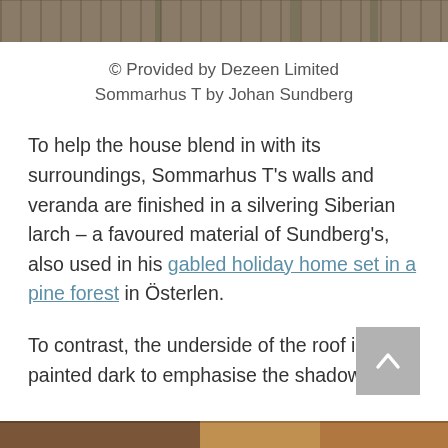[Figure (photo): Top portion of a wooden deck/veranda with horizontal planks visible, cropped partial image at the top of the page.]
© Provided by Dezeen Limited Sommarhus T by Johan Sundberg
To help the house blend in with its surroundings, Sommarhus T's walls and veranda are finished in a silvering Siberian larch – a favoured material of Sundberg's, also used in his gabled holiday home set in a pine forest in Österlen.
To contrast, the underside of the roof is painted dark to emphasise the shadows.
[Figure (photo): Bottom partial image showing what appears to be an exterior view, cropped at the bottom of the page.]